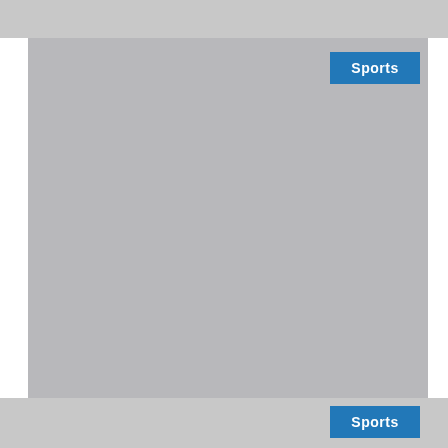[Figure (photo): Gray placeholder image occupying the main body of the page with a Sports label badge in the upper right corner]
[Figure (photo): Bottom strip gray area with a Sports label badge in the lower right corner]